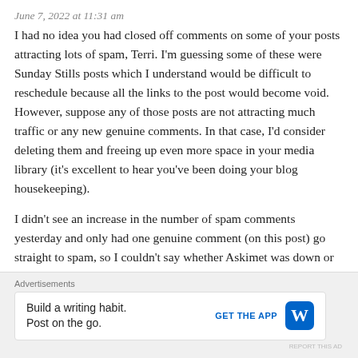June 7, 2022 at 11:31 am
I had no idea you had closed off comments on some of your posts attracting lots of spam, Terri. I'm guessing some of these were Sunday Stills posts which I understand would be difficult to reschedule because all the links to the post would become void. However, suppose any of those posts are not attracting much traffic or any new genuine comments. In that case, I'd consider deleting them and freeing up even more space in your media library (it's excellent to hear you've been doing your blog housekeeping).
I didn't see an increase in the number of spam comments yesterday and only had one genuine comment (on this post) go straight to spam, so I couldn't say whether Askimet was down or not. In any case, I'm happy it's something WordPress offers
Advertisements
Build a writing habit.
Post on the go.
GET THE APP
REPORT THIS AD